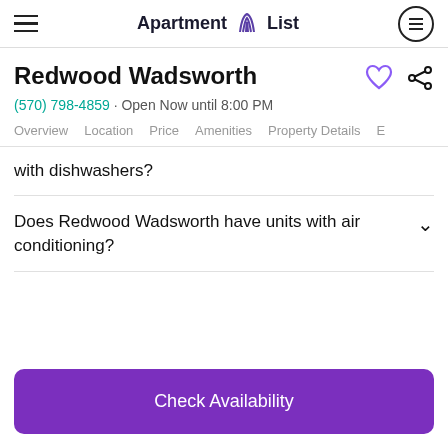Apartment List
Redwood Wadsworth
(570) 798-4859 · Open Now until 8:00 PM
Overview  Location  Price  Amenities  Property Details  E
with dishwashers?
Does Redwood Wadsworth have units with air conditioning?
Check Availability